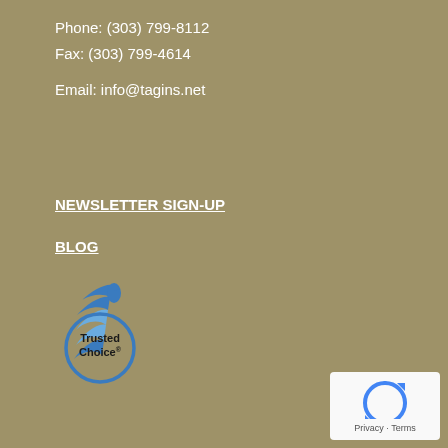Phone: (303) 799-8112
Fax: (303) 799-4614

Email: info@tagins.net
NEWSLETTER SIGN-UP
BLOG
[Figure (logo): Trusted Choice logo with blue eagle and circular blue text]
[Figure (other): reCAPTCHA widget with blue arrows icon and Privacy - Terms text]